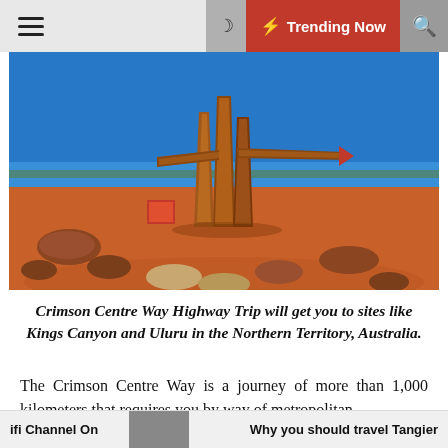≡  🌙  ⚡ Trending Now  🔍
[Figure (photo): Outdoor desert landscape in the Australian Outback (Northern Territory). A large rusty steel sculpture stands in the centre of a circle of red/orange sandstone boulders on red sandy ground. A road stretches into the distance behind it. Blue sky and sparse scrubby vegetation in the background.]
Crimson Centre Way Highway Trip will get you to sites like Kings Canyon and Uluru in the Northern Territory, Australia.
The Crimson Centre Way is a journey of more than 1,000 kilometers that requires you by way of metropolitan
ifi Channel On    Why you should travel Tangier